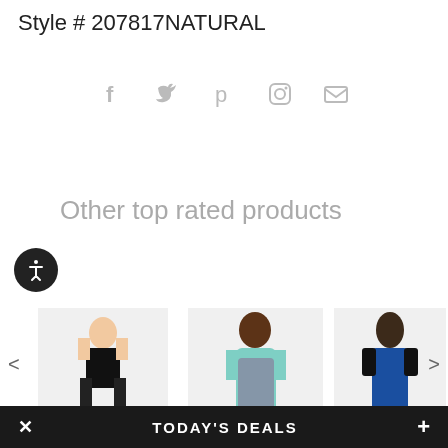Style # 207817NATURAL
[Figure (other): Social media share icons: Facebook (f), Twitter (bird), Pinterest (p), Instagram (camera), Email (envelope)]
Other top rated products
[Figure (photo): Three product photos: 1) Madame X Steel... - woman in black corset and thigh-high boots; 2) Brinley Tie Front... - woman in floral teal/purple maxi dress; 3) Cropped Bla... - woman in blue dress with black cropped jacket. Navigation arrows on left and right. BACK TO TOP label.]
Madame X Steel... Brinley Tie Front... Cropped Bla
TODAY'S DEALS